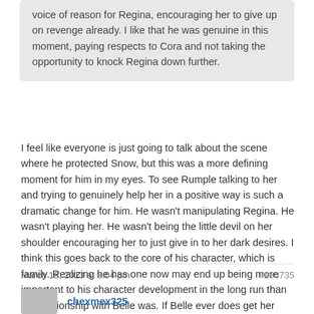voice of reason for Regina, encouraging her to give up on revenge already. I like that he was genuine in this moment, paying respects to Cora and not taking the opportunity to knock Regina down further.
I feel like everyone is just going to talk about the scene where he protected Snow, but this was a more defining moment for him in my eyes. To see Rumple talking to her and trying to genuinely help her in a positive way is such a dramatic change for him. He wasn't manipulating Regina. He wasn't playing her. He wasn't being the little devil on her shoulder encouraging her to just give in to her dark desires. I think this goes back to the core of his character, which is family. Realizing he has one now may end up being more important to his character development in the long run than his relationship with Belle was. If Belle ever does get her memory back, she may be happy to find a whole different Rumpel waiting for her. I also think that if Gold was motivated enough, he could help Regina lose that darkness of hers the way he seems to be losing his. Frankly, I think he OWES her that, since him and Cora are largely responsible for setting her on her dark path. I really wish he'd take some responsibility for some of the awful things he has done in his life, but I could say the same thing about Regina.
March 18, 2013 at 8:04 pm
#180735
chexmex325